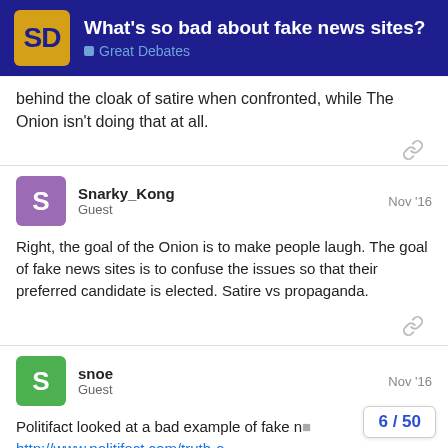What's so bad about fake news sites? — Great Debates
behind the cloak of satire when confronted, while The Onion isn't doing that at all.
Snarky_Kong — Guest — Nov '16
Right, the goal of the Onion is to make people laugh. The goal of fake news sites is to confuse the issues so that their preferred candidate is elected. Satire vs propaganda.
snoe — Guest — Nov '16
Politifact looked at a bad example of fake n
http://www.politifact.com/truth-o
6 / 50